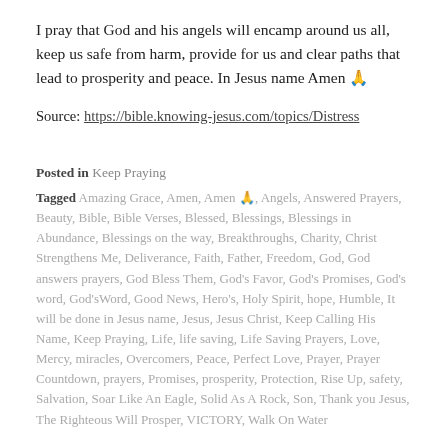I pray that God and his angels will encamp around us all, keep us safe from harm, provide for us and clear paths that lead to prosperity and peace. In Jesus name Amen 🙏
Source: https://bible.knowing-jesus.com/topics/Distress
Posted in Keep Praying
Tagged Amazing Grace, Amen, Amen 🙏, Angels, Answered Prayers, Beauty, Bible, Bible Verses, Blessed, Blessings, Blessings in Abundance, Blessings on the way, Breakthroughs, Charity, Christ Strengthens Me, Deliverance, Faith, Father, Freedom, God, God answers prayers, God Bless Them, God's Favor, God's Promises, God's word, God'sWord, Good News, Hero's, Holy Spirit, hope, Humble, It will be done in Jesus name, Jesus, Jesus Christ, Keep Calling His Name, Keep Praying, Life, life saving, Life Saving Prayers, Love, Mercy, miracles, Overcomers, Peace, Perfect Love, Prayer, Prayer Countdown, prayers, Promises, prosperity, Protection, Rise Up, safety, Salvation, Soar Like An Eagle, Solid As A Rock, Son, Thank you Jesus, The Righteous Will Prosper, VICTORY, Walk On Water